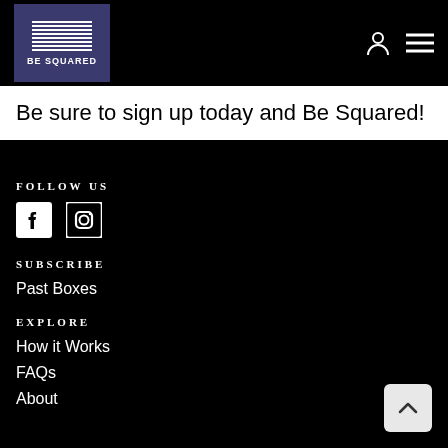BE SQUARED
Be sure to sign up today and Be Squared!
FOLLOW US
[Figure (illustration): Facebook and Instagram social media icons in white on black background]
SUBSCRIBE
Past Boxes
EXPLORE
How it Works
FAQs
About